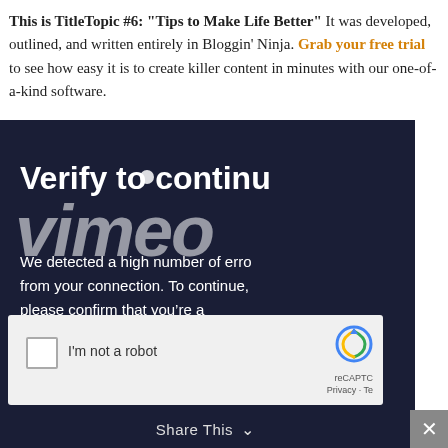This is TitleTopic #6: "Tips to Make Life Better" It was developed, outlined, and written entirely in Bloggin' Ninja. Grab your free trial to see how easy it is to create killer content in minutes with our one-of-a-kind software.
[Figure (screenshot): Vimeo verification overlay on dark navy background. Shows 'Verify to continue' heading, Vimeo italic logo watermark, text reading 'We detected a high number of errors from your connection. To continue, please confirm that you are a human (and not a spambot).' Below is a reCAPTCHA 'I'm not a robot' checkbox.]
Share This ∨